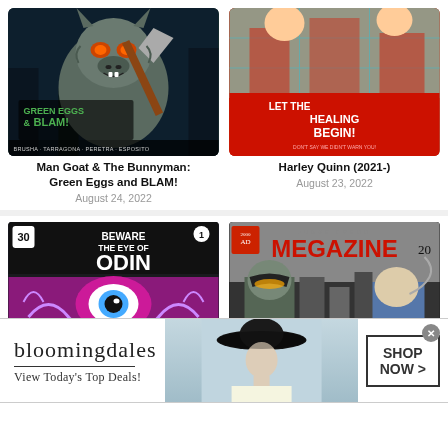[Figure (illustration): Comic book cover: Man Goat & The Bunnyman: Green Eggs and BLAM! featuring a menacing werewolf/goat creature holding an axe in a dark forest. Credits: Brusha, Tarragona, Peretra, Esposito]
Man Goat & The Bunnyman: Green Eggs and BLAM!
August 24, 2022
[Figure (illustration): Comic book cover: Harley Quinn (2021-) with 'Let the Healing Begin! Don't say we didn't warn you!' text, red and teal color scheme]
Harley Quinn (2021-)
August 23, 2022
[Figure (illustration): Comic book cover: Beware The Eye of Odin #1, black and magenta/purple color scheme with large eye motif]
[Figure (illustration): Comic book cover: Judge Dredd Megazine #20, featuring armored judge and man in suit]
[Figure (illustration): Advertisement banner: Bloomingdales - View Today's Top Deals! with model wearing wide-brim hat and SHOP NOW > button]